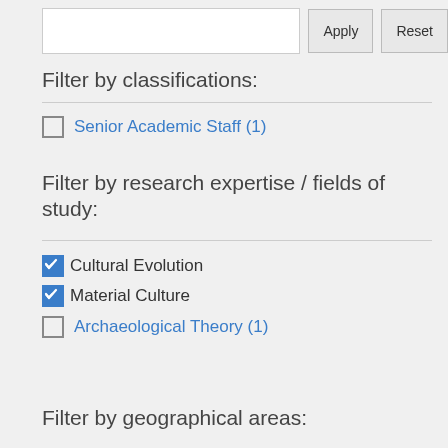[Figure (screenshot): Search input box with Apply and Reset buttons at the top of the page]
Filter by classifications:
Senior Academic Staff (1)
Filter by research expertise / fields of study:
Cultural Evolution (checked)
Material Culture (checked)
Archaeological Theory (1)
Filter by geographical areas: